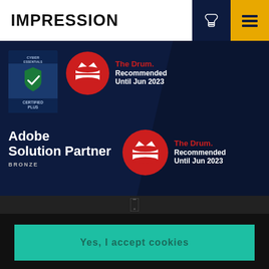IMPRESSION
[Figure (logo): Cyber Essentials Certified Plus badge — blue shield with checkmark]
[Figure (logo): The Drum Recommended Until Jun 2023 — red circle badge with crown icon]
Adobe Solution Partner BRONZE
[Figure (logo): The Drum Recommended Until Jun 2023 — red circle badge with crown icon]
This website uses cookies to ensure you get the best experience on our website. Read our cookie policy.
Yes, I accept cookies